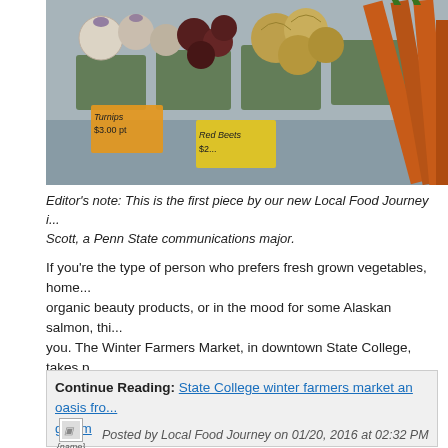[Figure (photo): Farmers market table display with baskets of turnips, red beets, onions, and carrots. Price signs visible reading 'Turnips $3.00 pt' and 'Red Beets $2...']
Editor's note: This is the first piece by our new Local Food Journey i... Scott, a Penn State communications major.
If you're the type of person who prefers fresh grown vegetables, home... organic beauty products, or in the mood for some Alaskan salmon, thi... you. The Winter Farmers Market, in downtown State College, takes p... at the State College Municipal Building, located on 243 Allen St. It sta... and goes all day till 5:00 p.m.
Continue Reading: State College winter farmers market an oasis fro... gloom
Posted by Local Food Journey on 01/20, 2016 at 02:32 PM